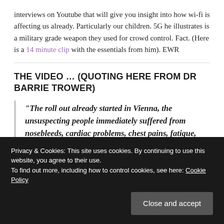interviews on Youtube that will give you insight into how wi-fi is affecting us already. Particularly our children. 5G he illustrates is a military grade weapon they used for crowd control. Fact. (Here is a 14 minute clip with the essentials from him). EWR
THE VIDEO … (QUOTING HERE FROM DR BARRIE TROWER)
“The roll out already started in Vienna, the unsuspecting people immediately suffered from nosebleeds, cardiac problems, chest pains, fatigue,
experiment. The humans suffered metabolic
Privacy & Cookies: This site uses cookies. By continuing to use this website, you agree to their use.
To find out more, including how to control cookies, see here: Cookie Policy